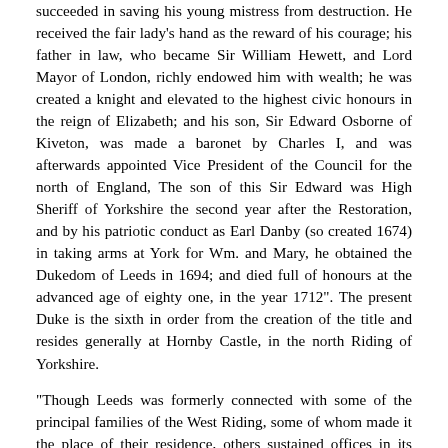succeeded in saving his young mistress from destruction. He received the fair lady's hand as the reward of his courage; his father in law, who became Sir William Hewett, and Lord Mayor of London, richly endowed him with wealth; he was created a knight and elevated to the highest civic honours in the reign of Elizabeth; and his son, Sir Edward Osborne of Kiveton, was made a baronet by Charles I, and was afterwards appointed Vice President of the Council for the north of England, The son of this Sir Edward was High Sheriff of Yorkshire the second year after the Restoration, and by his patriotic conduct as Earl Danby (so created 1674) in taking arms at York for Wm. and Mary, he obtained the Dukedom of Leeds in 1694; and died full of honours at the advanced age of eighty one, in the year 1712". The present Duke is the sixth in order from the creation of the title and resides generally at Hornby Castle, in the north Riding of Yorkshire.
"Though Leeds was formerly connected with some of the principal families of the West Riding, some of whom made it the place of their residence, others sustained offices in its corporation, and others interested